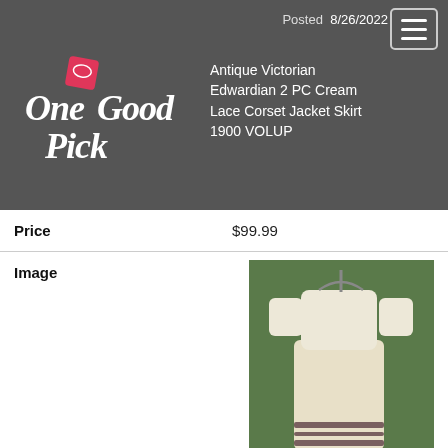[Figure (logo): One Good Pick logo on dark grey header background]
Posted	8/26/2022
Antique Victorian Edwardian 2 PC Cream Lace Corset Jacket Skirt 1900 VOLUP
| Price | $99.99 |
| Image | [product photo] |
| Source | eBay.com |
| Location | USA |
| Posted | 8/21/2022 |